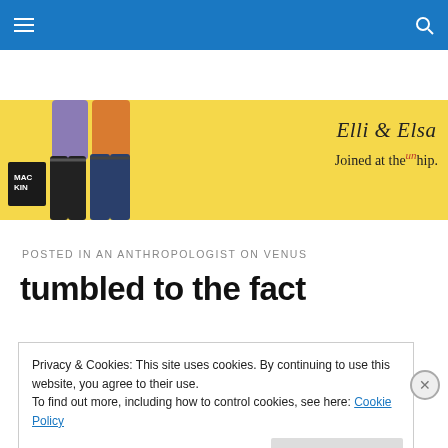Navigation bar with hamburger menu and search icon
[Figure (illustration): Banner for 'Elli & Elsa — Joined at the unhip' blog. Yellow background with illustrated figures of two women wearing jeans. Left side shows MacKin logo. Right side shows cursive text 'Elli & Elsa' and 'Joined at the un hip.' in mixed fonts.]
POSTED IN AN ANTHROPOLOGIST ON VENUS
tumbled to the fact
Privacy & Cookies: This site uses cookies. By continuing to use this website, you agree to their use.
To find out more, including how to control cookies, see here: Cookie Policy
Close and accept